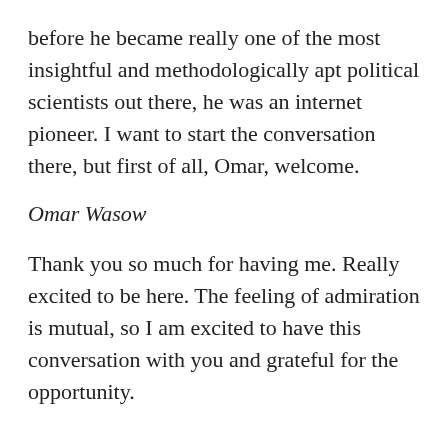before he became really one of the most insightful and methodologically apt political scientists out there, he was an internet pioneer. I want to start the conversation there, but first of all, Omar, welcome.
Omar Wasow
Thank you so much for having me. Really excited to be here. The feeling of admiration is mutual, so I am excited to have this conversation with you and grateful for the opportunity.